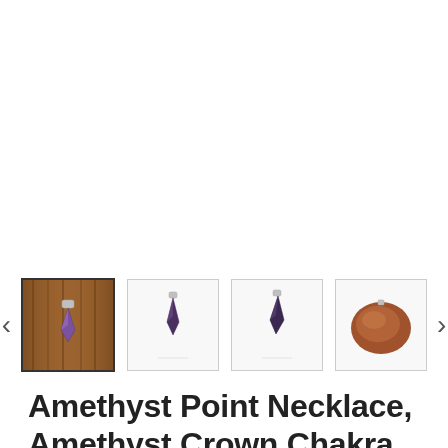[Figure (screenshot): Product image carousel showing four thumbnail images of an amethyst point necklace/pendant. First thumbnail (selected, with border) shows the pendant hanging on a wooden display against a brown background. Second and third thumbnails show the pendant on a white background. Fourth thumbnail shows a brown stone/rock. Navigation arrows (< and >) on either side.]
Amethyst Point Necklace, Amethyst Crown Chakra Pendant,